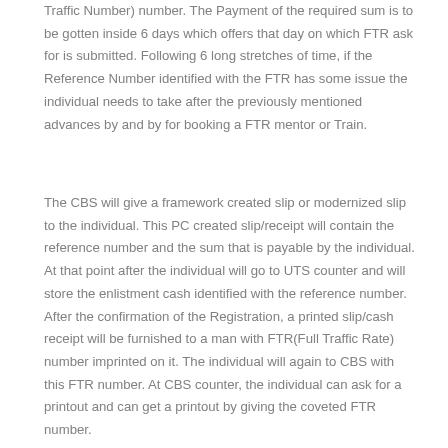Traffic Number) number. The Payment of the required sum is to be gotten inside 6 days which offers that day on which FTR ask for is submitted. Following 6 long stretches of time, if the Reference Number identified with the FTR has some issue the individual needs to take after the previously mentioned advances by and by for booking a FTR mentor or Train.
The CBS will give a framework created slip or modernized slip to the individual. This PC created slip/receipt will contain the reference number and the sum that is payable by the individual. At that point after the individual will go to UTS counter and will store the enlistment cash identified with the reference number. After the confirmation of the Registration, a printed slip/cash receipt will be furnished to a man with FTR(Full Traffic Rate) number imprinted on it. The individual will again to CBS with this FTR number. At CBS counter, the individual can ask for a printout and can get a printout by giving the coveted FTR number.